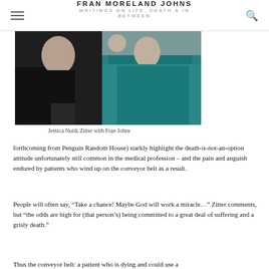FRAN MORELAND JOHNS
WRITINGS ON LIFE, DEATH & IN BETWEEN
[Figure (photo): Two people photographed together, one in dark clothing on the left, one in a teal/green jacket on the right]
Jessica Nutik Zitter with Fran Johns
forthcoming from Penguin Random House) starkly highlight the death-is-not-an-option attitude unfortunately still common in the medical profession – and the pain and anguish endured by patients who wind up on the conveyor belt as a result.
People will often say, “Take a chance! Maybe God will work a miracle…” Zitter comments, but “the odds are high for (that person’s) being committed to a great deal of suffering and a grisly death.”
Thus the conveyor belt: a patient who is dying and could use a